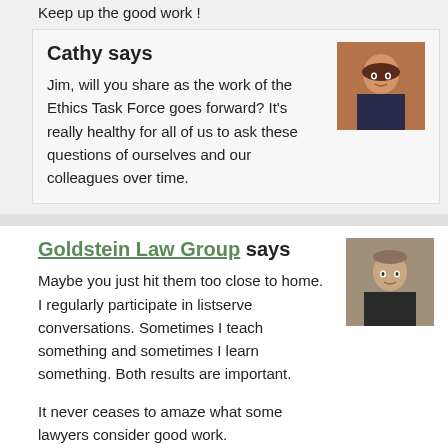Keep up the good work !
Cathy says
Jim, will you share as the work of the Ethics Task Force goes forward?  It's really healthy for all of us to ask these questions of ourselves and our colleagues over time.
Goldstein Law Group says
Maybe you just hit them too close to home. I regularly participate in listserve conversations. Sometimes I teach something and sometimes I learn something. Both results are important.
It never ceases to amaze what some lawyers consider good work.